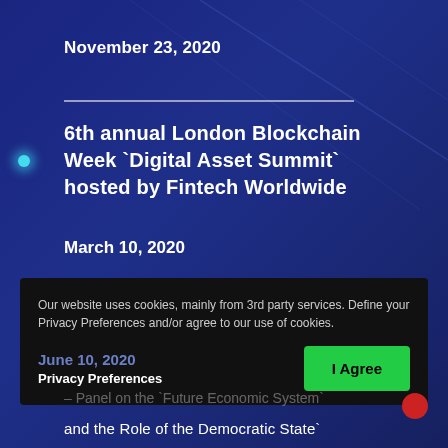November 23, 2020
6th annual London Blockchain Week `Digital Asset Summit` hosted by Fintech Worldwide
March 10, 2020
Our website uses cookies, mainly from 3rd party services. Define your Privacy Preferences and/or agree to our use of cookies.
June 10, 2020
Privacy Preferences
I Agree
– Panel on the `Future Economic System`
and the Role of the Democratic State`